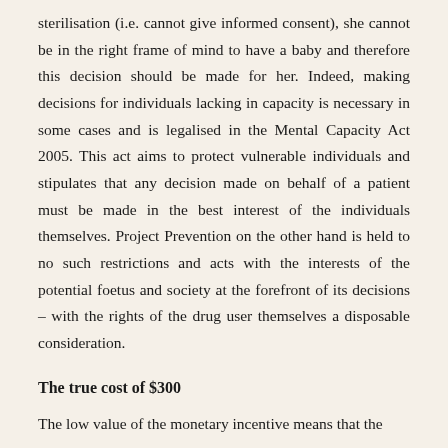sterilisation (i.e. cannot give informed consent), she cannot be in the right frame of mind to have a baby and therefore this decision should be made for her. Indeed, making decisions for individuals lacking in capacity is necessary in some cases and is legalised in the Mental Capacity Act 2005. This act aims to protect vulnerable individuals and stipulates that any decision made on behalf of a patient must be made in the best interest of the individuals themselves. Project Prevention on the other hand is held to no such restrictions and acts with the interests of the potential foetus and society at the forefront of its decisions – with the rights of the drug user themselves a disposable consideration.
The true cost of $300
The low value of the monetary incentive means that the